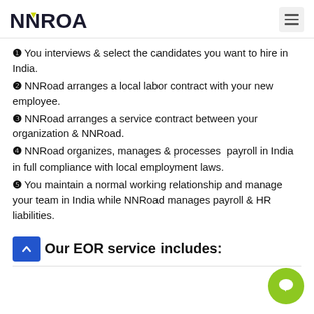NNRoad
❶ You interviews & select the candidates you want to hire in India.
❷ NNRoad arranges a local labor contract with your new employee.
❸ NNRoad arranges a service contract between your organization & NNRoad.
❹ NNRoad organizes, manages & processes payroll in India in full compliance with local employment laws.
❺ You maintain a normal working relationship and manage your team in India while NNRoad manages payroll & HR liabilities.
Our EOR service includes: